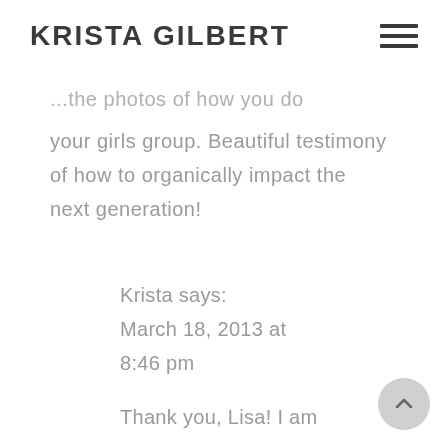KRISTA GILBERT
...the photos of how you do your girls group. Beautiful testimony of how to organically impact the next generation!
Krista says:
March 18, 2013 at 8:46 pm
Thank you, Lisa! I am